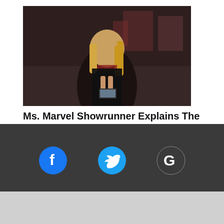[Figure (photo): Ms. Marvel showrunner photo – woman looking at phone in dimly lit room]
Ms. Marvel Showrunner Explains The Post-Credit Scene
[Figure (photo): Split image: left side shows Kamala Khan looking shocked, right side shows X-Men comic characters Wolverine and Gambit]
Is Ms. Marvel A Mutant? (& Is Kamala Bringing X-Men In The M...
[Figure (infographic): Social media icons: Facebook (blue circle with f), Twitter (blue bird), Google (G logo) on dark grey footer bar]